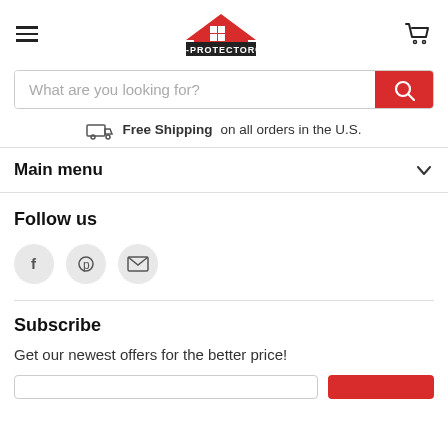[Figure (logo): X-PROTECTOR logo with red house/roof icon above black box with white text X-PROTECTOR®]
[Figure (other): Search bar with placeholder 'What are you looking for?' and red search button]
Free Shipping on all orders in the U.S.
Main menu
Follow us
[Figure (other): Social media icons: Facebook, Pinterest, Email (circular grey buttons)]
Subscribe
Get our newest offers for the better price!